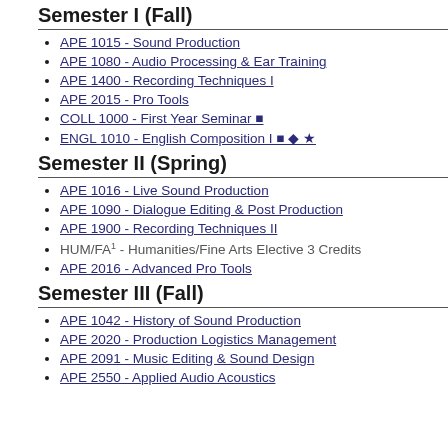Semester I (Fall)
APE 1015 - Sound Production
APE 1080 - Audio Processing & Ear Training
APE 1400 - Recording Techniques I
APE 2015 - Pro Tools
COLL 1000 - First Year Seminar ■
ENGL 1010 - English Composition I ■ ◆ ★
Semester II (Spring)
APE 1016 - Live Sound Production
APE 1090 - Dialogue Editing & Post Production
APE 1900 - Recording Techniques II
HUM/FA1 - Humanities/Fine Arts Elective 3 Credits
APE 2016 - Advanced Pro Tools
Semester III (Fall)
APE 1042 - History of Sound Production
APE 2020 - Production Logistics Management
APE 2091 - Music Editing & Sound Design
APE 2550 - Applied Audio Acoustics